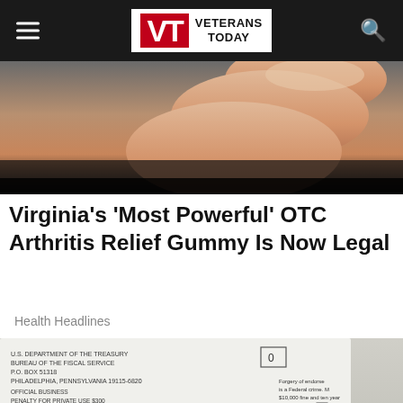Veterans Today
[Figure (photo): Close-up photo of a hand/fingers against a dark background]
Virginia's 'Most Powerful' OTC Arthritis Relief Gummy Is Now Legal
Health Headlines
[Figure (photo): Close-up photo of a government check showing routing number 000555026864, check number 4041 16914130 I, dated 05 01 20 20091800, Kansas City, MO. The envelope shows U.S. Department of the Treasury, Bureau of the Fiscal Service, P.O. Box 51318, Philadelphia, Pennsylvania 19115-6820.]